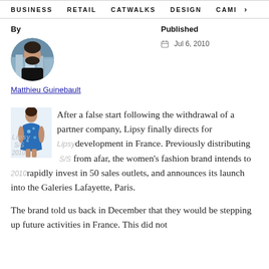BUSINESS   RETAIL   CATWALKS   DESIGN   CAMI >
By
Published
[Figure (photo): Circular headshot of Matthieu Guinebault, a man with dark hair and beard in front of a cityscape background]
Matthieu Guinebault
Jul 6, 2010
[Figure (photo): Small thumbnail of a woman in a blue floral dress, representing Lipsy S/S 2010 collection]
After a false start following the withdrawal of a partner company, Lipsy finally directs for development in France. Previously distributing from afar, the women's fashion brand intends to rapidly invest in 50 sales outlets, and announces its launch into the Galeries Lafayette, Paris.
The brand told us back in December that they would be stepping up future activities in France. This did not